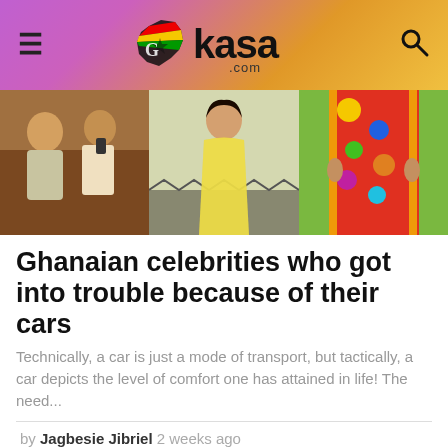GHKasa.com
[Figure (photo): Three-panel image strip: left panel shows two people in warm toned setting, center panel shows a woman in yellow outfit, right panel shows colorful patterned clothing]
Ghanaian celebrities who got into trouble because of their cars
Technically, a car is just a mode of transport, but tactically, a car depicts the level of comfort one has attained in life! The need...
by Jagbesie Jibriel 2 weeks ago
[Figure (photo): Three-panel image strip: left panel shows a man holding a microphone wearing a Stay High shirt, center panel shows a woman in a car, right panel shows a man outdoors with sunglasses]